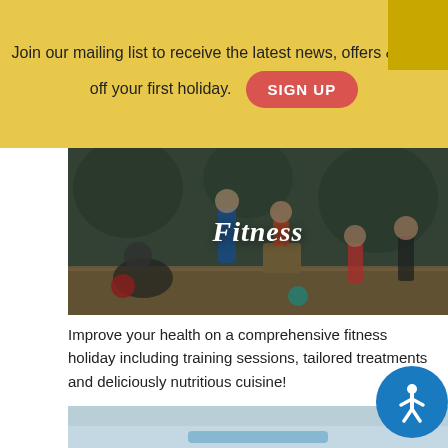Join our mailing list to receive the latest news, offers off your first holiday.
SIGN UP
[Figure (photo): Group of people doing fitness exercises outdoors on a wooden platform with gym equipment]
Fitness
Improve your health on a comprehensive fitness holiday including training sessions, tailored treatments and deliciously nutritious cuisine!
[Figure (photo): Partial view of a second fitness category image, appears to show a pool or water feature]